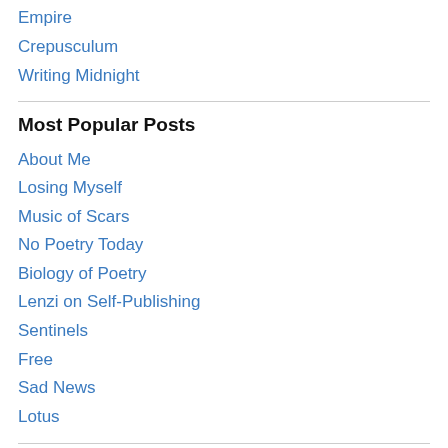Empire
Crepusculum
Writing Midnight
Most Popular Posts
About Me
Losing Myself
Music of Scars
No Poetry Today
Biology of Poetry
Lenzi on Self-Publishing
Sentinels
Free
Sad News
Lotus
Posts by Genre